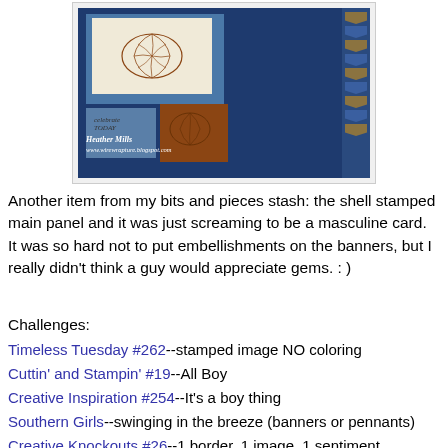[Figure (photo): A handmade masculine greeting card featuring a shell-stamped cream panel on a blue and navy background with brown accent panels and banner/pennant strip on the right side. Watermark text reads 'Heather Mills' and 'www.wirewrapture.blogspot.com'.]
Another item from my bits and pieces stash: the shell stamped main panel and it was just screaming to be a masculine card.  It was so hard not to put embellishments on the banners, but I really didn't think a guy would appreciate gems. : )
Challenges:
Timeless Tuesday #262--stamped image NO coloring
Cuttin' and Stampin' #19--All Boy
Creative Inspiration #254--It's a boy thing
Southern Girls--swinging in the breeze (banners or pennants)
Creative Knockouts #26--1 border, 1 image, 1 sentiment